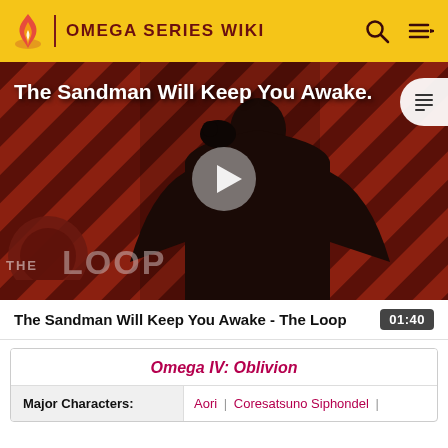OMEGA SERIES WIKI
[Figure (screenshot): Video thumbnail: The Sandman Will Keep You Awake - The Loop, showing a dark-robed figure with a raven on a striped red/dark background, with THE LOOP text overlay and play button]
The Sandman Will Keep You Awake - The Loop  01:40
Omega IV: Oblivion
| Major Characters: |  |
| --- | --- |
| Major Characters: | Aori | Coresatsuno Siphondel | |